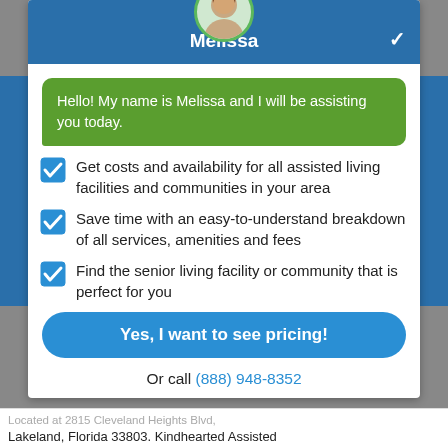Melissa
Hello! My name is Melissa and I will be assisting you today.
Get costs and availability for all assisted living facilities and communities in your area
Save time with an easy-to-understand breakdown of all services, amenities and fees
Find the senior living facility or community that is perfect for you
Yes, I want to see pricing!
Or call (888) 948-8352
Located at 2815 Cleveland Heights Blvd, Lakeland, Florida 33803. Kindhearted Assisted